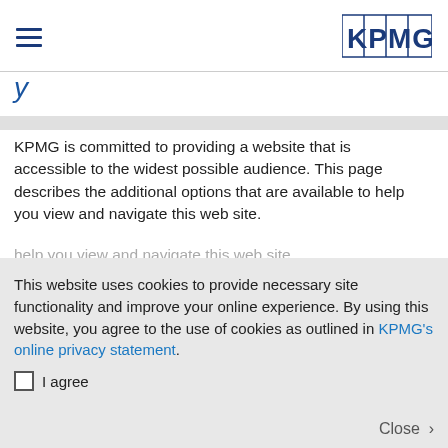KPMG [logo] navigation header
y (partial italic title visible)
KPMG is committed to providing a website that is accessible to the widest possible audience. This page describes the additional options that are available to help you view and navigate this web site.
This website uses cookies to provide necessary site functionality and improve your online experience. By using this website, you agree to the use of cookies as outlined in KPMG's online privacy statement.
I agree
Close >